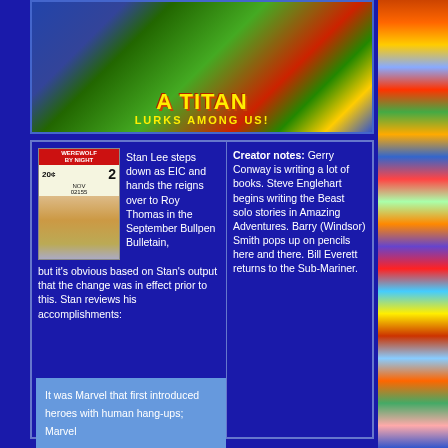[Figure (illustration): Comic book panel showing Hulk and another character fighting, with text 'A TITAN LURKS AMONG US!' at the bottom in yellow letters on dark background]
[Figure (illustration): Werewolf by Night issue 2 comic book cover, 20 cents, November]
Stan Lee steps down as EIC and hands the reigns over to Roy Thomas in the September Bullpen Bulletain, but it's obvious based on Stan's output that the change was in effect prior to this. Stan reviews his accomplishments:
Creator notes: Gerry Conway is writing a lot of books. Steve Englehart begins writing the Beast solo stories in Amazing Adventures. Barry (Windsor) Smith pops up on pencils here and there. Bill Everett returns to the Sub-Mariner.
It was Marvel that first introduced heroes with human hang-ups; Marvel